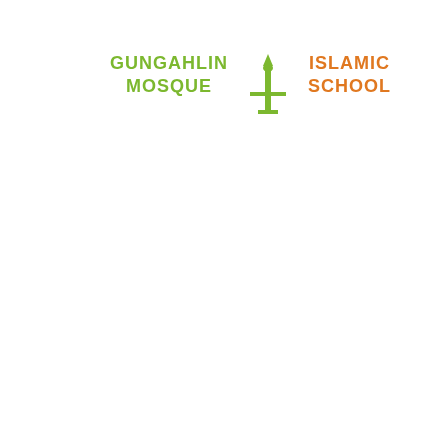[Figure (logo): Gungahlin Mosque and Islamic School logo. On the left is green bold text reading 'GUNGAHLIN MOSQUE', in the center is a green minaret/mosque icon, and on the right is orange bold text reading 'ISLAMIC SCHOOL'.]